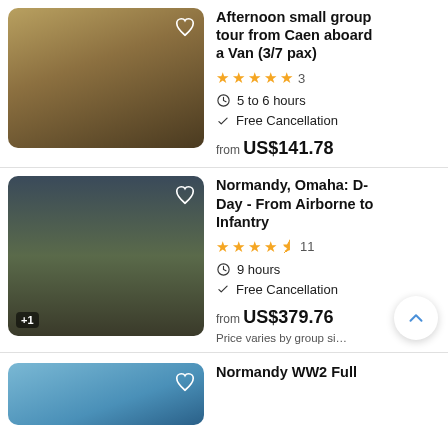[Figure (photo): Photo of a WWII tank (likely a German Panzer IV) on display in a museum, illuminated by warm lighting, with people visible in the background.]
Afternoon small group tour from Caen aboard a Van (3/7 pax)
★★★★★ 3
🕐 5 to 6 hours
✓ Free Cancellation
from US$141.78
[Figure (photo): Photo of smiling WWII soldiers wearing helmets, crowded together inside a vehicle or trench, posing for the camera.]
Normandy, Omaha: D-Day - From Airborne to Infantry
★★★★½ 11
🕐 9 hours
✓ Free Cancellation
from US$379.76
Price varies by group size
[Figure (photo): Partial view of a third tour listing image, showing what appears to be a blue-toned coastal or landscape photo.]
Normandy WW2 Full